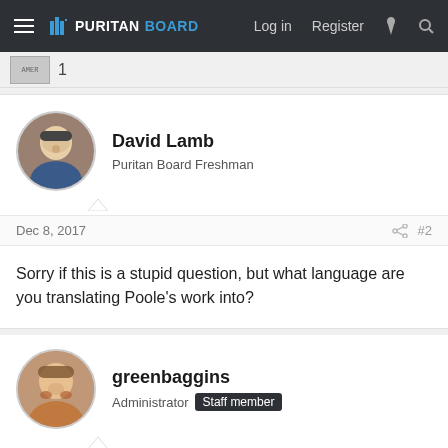PURITANBOARD — Log in  Register
[Figure (other): Small thumbnail image with number 1]
David Lamb
Puritan Board Freshman
Dec 8, 2017  #2
Sorry if this is a stupid question, but what language are you translating Poole's work into?
greenbaggins
Administrator  Staff member
Dec 8, 2017  #3
I can answer for Steve, as I have many of the volumes. He is